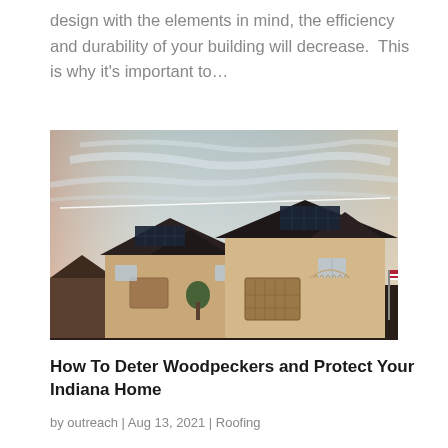design with the elements in mind, the efficiency and durability of your building will decrease.  This is why it's important to…
[Figure (photo): Suburban houses with solar panels on roofs against a sky with a contrail at dusk/evening light]
How To Deter Woodpeckers and Protect Your Indiana Home
by outreach | Aug 13, 2021 | Roofing